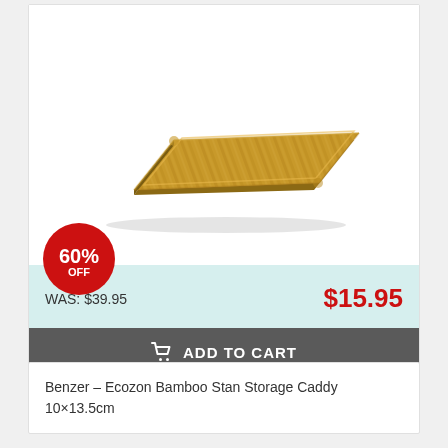[Figure (photo): Rectangular bamboo serving tray/caddy with rounded corners, natural wood grain, viewed from slight angle above]
60% OFF
WAS: $39.95
$15.95
ADD TO CART
Benzer – Ecozon Bamboo Stan Storage Caddy 10×13.5cm